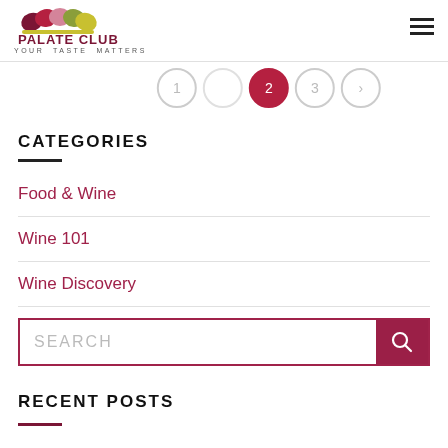PALATE CLUB — YOUR TASTE MATTERS
[Figure (other): Pagination circles: 1, 2 (active/red), 3, arrow-right]
CATEGORIES
Food & Wine
Wine 101
Wine Discovery
Wine Lifestyle
[Figure (other): Search input box with magnifying glass button]
RECENT POSTS